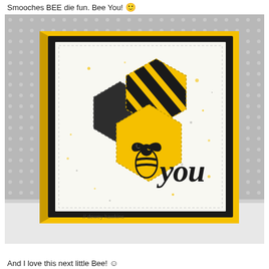Smooches BEE die fun. Bee You! 🙂
[Figure (photo): A handmade greeting card displayed on a gray polka-dot background. The card has a yellow outer layer and black inner mat. The white card front features two overlapping hexagons — a dark charcoal solid hexagon and a yellow-and-black striped hexagon — along with a bee die-cut and the word 'you' in black script. The card has ink splatter texture in yellow and gray. A watermark reads 'dewey hawkins'.]
And I love this next little Bee!